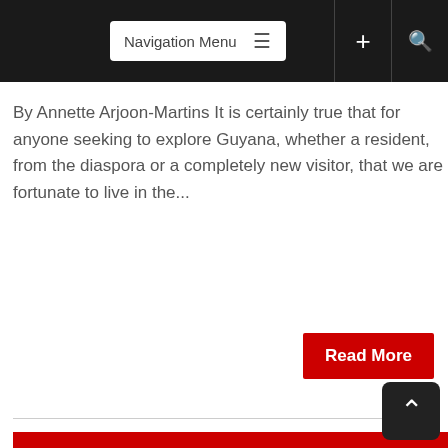Navigation Menu  ≡  +  🔍
By Annette Arjoon-Martins It is certainly true that for anyone seeking to explore Guyana, whether a resident, from the diaspora or a completely new visitor, that we are fortunate to live in the...
Read More
[Figure (logo): Kaieteur News logo — large red rectangle with white serif text showing a stylized K followed by 'AIETEUR NEWS' in two lines]